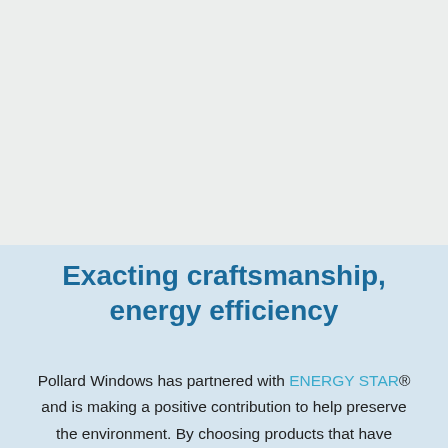[Figure (illustration): Top portion of page with light grey/green background, likely containing a product image (not visible in this crop).]
Exacting craftsmanship, energy efficiency
Pollard Windows has partnered with ENERGY STAR® and is making a positive contribution to help preserve the environment. By choosing products that have